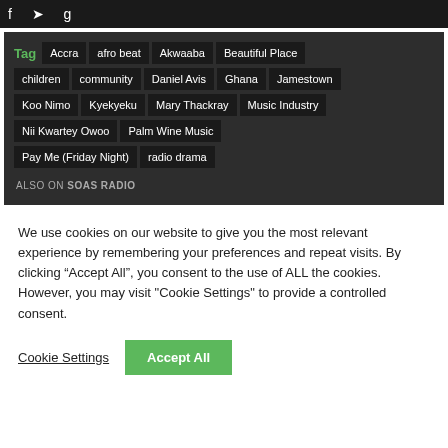f  tw  g
Tag  Accra  afro beat  Akwaaba  Beautiful Place  children  community  Daniel Avis  Ghana  Jamestown  Koo Nimo  Kyekyeku  Mary Thackray  Music Industry  Nii Kwartey Owoo  Palm Wine Music  Pay Me (Friday Night)  radio drama
ALSO ON SOAS RADIO
We use cookies on our website to give you the most relevant experience by remembering your preferences and repeat visits. By clicking “Accept All”, you consent to the use of ALL the cookies. However, you may visit "Cookie Settings" to provide a controlled consent.
Cookie Settings  Accept All